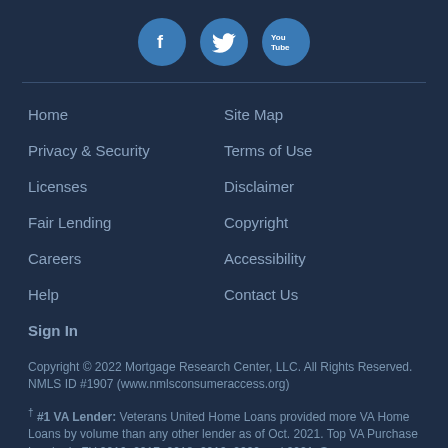[Figure (other): Three social media icon buttons: Facebook (f), Twitter (bird), YouTube (You Tube), displayed as blue circles in a row]
Home
Site Map
Privacy & Security
Terms of Use
Licenses
Disclaimer
Fair Lending
Copyright
Careers
Accessibility
Help
Contact Us
Sign In
Copyright © 2022 Mortgage Research Center, LLC. All Rights Reserved. NMLS ID #1907 (www.nmlsconsumeraccess.org)
† #1 VA Lender: Veterans United Home Loans provided more VA Home Loans by volume than any other lender as of Oct. 2021. Top VA Purchase Lender in FY 2016, 2017, 2018, 2019, 2020 and 2021. Source: Department of Veterans Affairs Lender Statistics